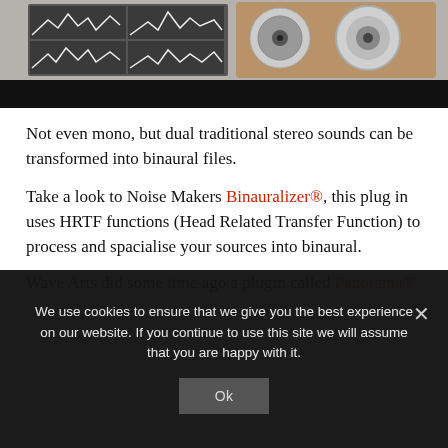[Figure (photo): Screenshot of audio software interface with waveform graphs on the left and a wooden turntable/speaker setup on the right, with a dark black bar at the bottom of the image.]
Not even mono, but dual traditional stereo sounds can be transformed into binaural files.
Take a look to Noise Makers Binauralizer®, this plug in uses HRTF functions (Head Related Transfer Function) to process and spacialise your sources into binaural.
Wave Arts did some time ago a plugin called Panorama®
We use cookies to ensure that we give you the best experience on our website. If you continue to use this site we will assume that you are happy with it.